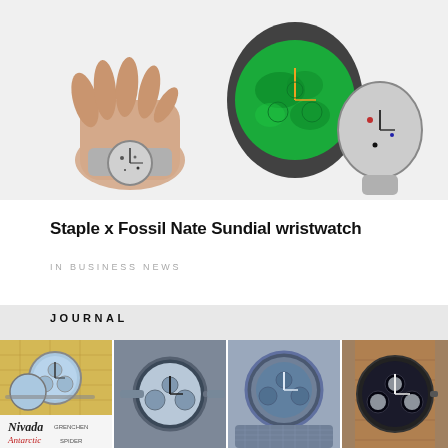[Figure (photo): Two views of the Staple x Fossil Nate Sundial wristwatch — a hand wearing the grey speckled watch on the left, and the watch with its case open showing a vibrant green dial with orange hands on the right]
Staple x Fossil Nate Sundial wristwatch
IN BUSINESS NEWS
JOURNAL
[Figure (photo): Four journal thumbnail images of watches: Nivada Grenchen Antarctic Spider advertisement, a blue chronograph watch on grey stone, a blue dial watch with mesh strap, and a chronograph watch on brown leather strap]